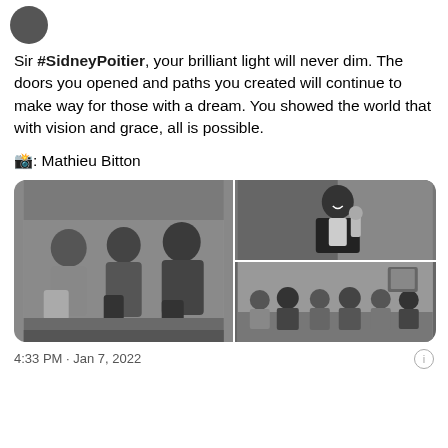Sir #SidneyPoitier, your brilliant light will never dim. The doors you opened and paths you created will continue to make way for those with a dream. You showed the world that with vision and grace, all is possible.
📸: Mathieu Bitton
[Figure (photo): Three black-and-white photos: left - three men sitting together, top right - man in tuxedo holding an award, bottom right - group of people sitting together]
4:33 PM · Jan 7, 2022